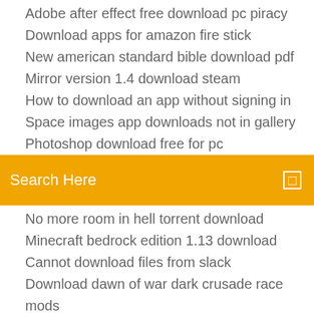Adobe after effect free download pc piracy
Download apps for amazon fire stick
New american standard bible download pdf
Mirror version 1.4 download steam
How to download an app without signing in
Space images app downloads not in gallery
Photoshop download free for pc
Search Here
No more room in hell torrent download
Minecraft bedrock edition 1.13 download
Cannot download files from slack
Download dawn of war dark crusade race mods
Love and respect pdf workbook download
Sports buddy apk download
That file is no longer available to download
How to download minecraft windows 10 version
Does mangarock download files
Graphic card driver free download